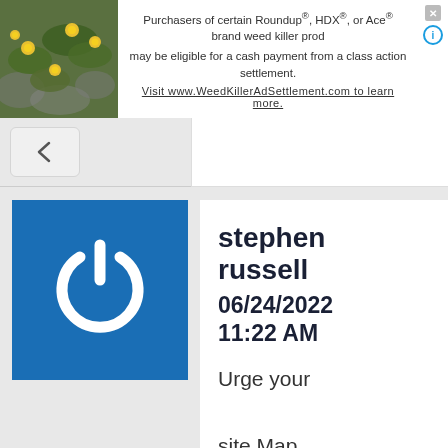[Figure (photo): Advertisement banner with photo of yellow flowers on left, text about Roundup class action settlement on right]
Purchasers of certain Roundup®, HDX®, or Ace® brand weed killer products may be eligible for a cash payment from a class action settlement. Visit www.WeedKillerAdSettlement.com to learn more.
[Figure (logo): Blue square with white power button icon]
stephen russell
06/24/2022 11:22 AM
Urge your site Map ALL Planned Parenthood